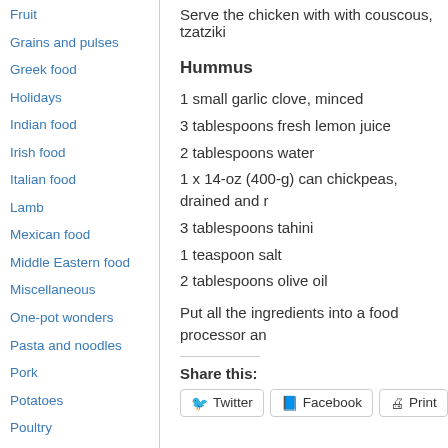Fruit
Grains and pulses
Greek food
Holidays
Indian food
Irish food
Italian food
Lamb
Mexican food
Middle Eastern food
Miscellaneous
One-pot wonders
Pasta and noodles
Pork
Potatoes
Poultry
Serve the chicken with with couscous, tzatziki
Hummus
1 small garlic clove, minced
3 tablespoons fresh lemon juice
2 tablespoons water
1 x 14-oz (400-g) can chickpeas, drained and r
3 tablespoons tahini
1 teaspoon salt
2 tablespoons olive oil
Put all the ingredients into a food processor an
Share this:
Twitter  Facebook  Print  t